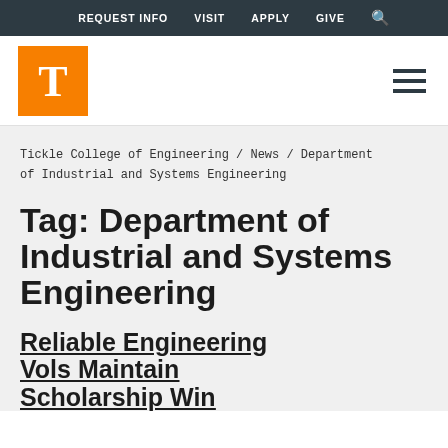REQUEST INFO  VISIT  APPLY  GIVE  🔍
[Figure (logo): University of Tennessee orange T logo block]
Tickle College of Engineering / News / Department of Industrial and Systems Engineering
Tag: Department of Industrial and Systems Engineering
Reliable Engineering Vols Maintain Scholarship Win...